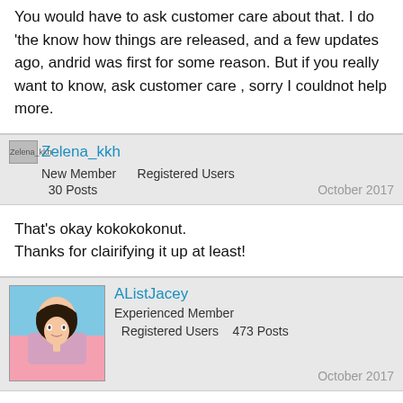You would have to ask customer care about that. I do 'the know how things are released, and a few updates ago, andrid was first for some reason. But if you really want to know, ask customer care , sorry I couldnot help more.
Zelena_kkh
New Member    Registered Users
30 Posts    October 2017
That's okay kokokokonut.
Thanks for clairifying it up at least!
AListJacey
Experienced Member
Registered Users    473 Posts    October 2017
Ahhh it just popped up for me too! for anyone (ios) who still hasn't gotten it, i recommend refreshing and seeing if